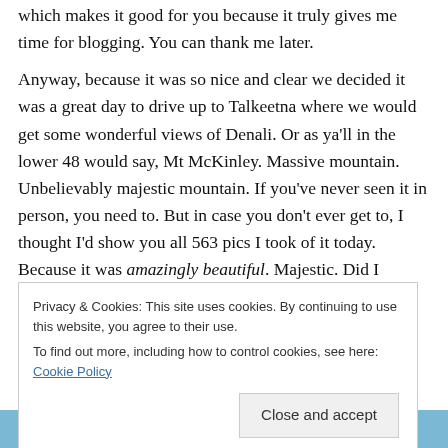which makes it good for you because it truly gives me time for blogging. You can thank me later.
Anyway, because it was so nice and clear we decided it was a great day to drive up to Talkeetna where we would get some wonderful views of Denali. Or as ya'll in the lower 48 would say, Mt McKinley. Massive mountain. Unbelievably majestic mountain. If you've never seen it in person, you need to. But in case you don't ever get to, I thought I'd show you all 563 pics I took of it today. Because it was amazingly beautiful. Majestic. Did I already say that? It bears repeating. Alaska makes one in awe of the beauty of God's creation!
Privacy & Cookies: This site uses cookies. By continuing to use this website, you agree to their use. To find out more, including how to control cookies, see here: Cookie Policy
[Figure (photo): Blue sky and landscape strip at the bottom of the page]